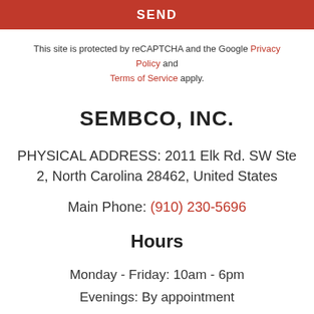[Figure (other): Red banner bar with 'SEND' text]
This site is protected by reCAPTCHA and the Google Privacy Policy and Terms of Service apply.
SEMBCO, INC.
PHYSICAL ADDRESS: 2011 Elk Rd. SW Ste 2, North Carolina 28462, United States
Main Phone: (910) 230-5696
Hours
Monday - Friday: 10am - 6pm
Evenings: By appointment
Saturday: By appointment